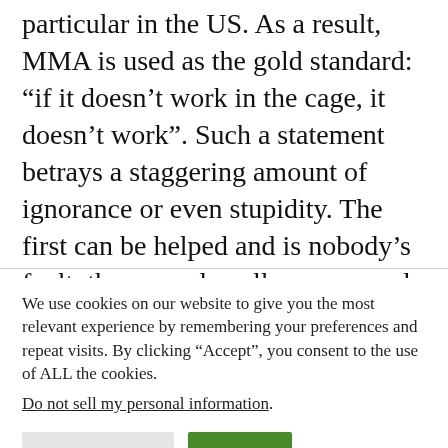particular in the US. As a result, MMA is used as the gold standard: “if it doesn’t work in the cage, it doesn’t work”. Such a statement betrays a staggering amount of ignorance or even stupidity. The first can be helped and is nobody’s fault, the second, well, some people could do worse than not talking about things they don’t understand.
We use cookies on our website to give you the most relevant experience by remembering your preferences and repeat visits. By clicking “Accept”, you consent to the use of ALL the cookies.
Do not sell my personal information.
Cookie Settings   Accept